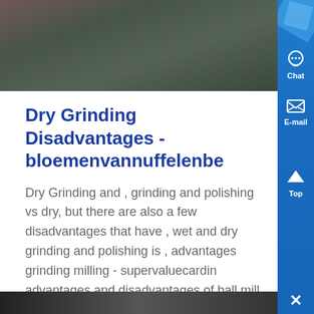[Figure (photo): Industrial factory floor with workers and machinery, dark/dim lighting]
Dry Grinding Disadvantages - bloemenvannuffelenbe
Dry Grinding and , grinding and polishing vs dry, but there are also a few disadvantages that have , wet and dry grinding and polishing is , advantages grinding milling - supervaluecardin advantages and disadvantages of ball mill grinding advantages and disadvantages of ball mill dry grinding creates a lot of dust which causes the ....